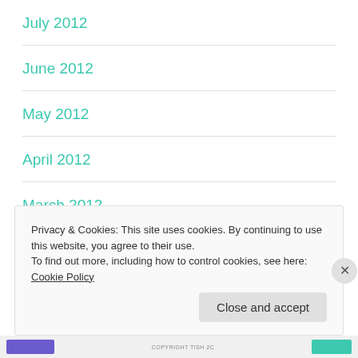July 2012
June 2012
May 2012
April 2012
March 2012
February 2012
Privacy & Cookies: This site uses cookies. By continuing to use this website, you agree to their use. To find out more, including how to control cookies, see here: Cookie Policy
Close and accept